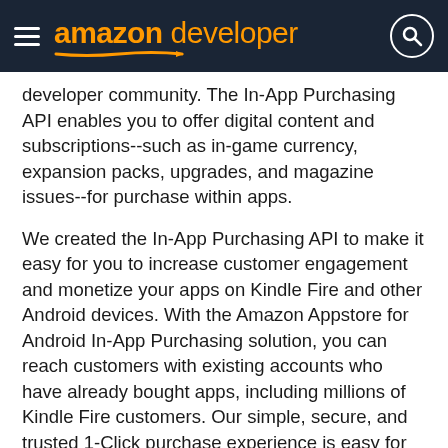amazon developer
developer community. The In-App Purchasing API enables you to offer digital content and subscriptions--such as in-game currency, expansion packs, upgrades, and magazine issues--for purchase within apps.
We created the In-App Purchasing API to make it easy for you to increase customer engagement and monetize your apps on Kindle Fire and other Android devices. With the Amazon Appstore for Android In-App Purchasing solution, you can reach customers with existing accounts who have already bought apps, including millions of Kindle Fire customers. Our simple, secure, and trusted 1-Click purchase experience is easy for customers to use, increasing conversion rates for purchases within your app. Plus, we designed our in-app purchasing (IAP) solution to be simple and easy to integrate so you can be up and running quickly.
It's easy to get started from the Amazon Appstore Developer Portal, where you'll find documentation, sample code, tutorials, frequently asked questions, and more.  In the coming weeks, we'll also be featuring